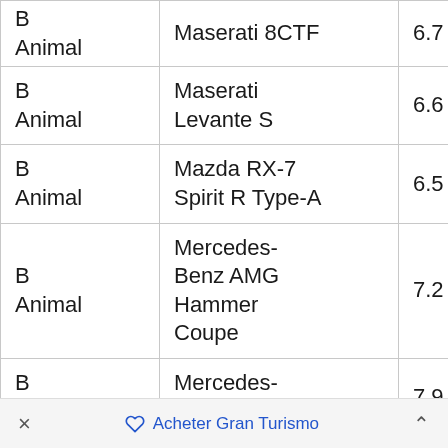| Category | Car | Col3 | Col4 | Col5 |
| --- | --- | --- | --- | --- |
| B Animal | Maserati 8CTF | 6.7 | 3.9 | 3 |
| B Animal | Maserati Levante S | 6.6 | 5 | 5 |
| B Animal | Mazda RX-7 Spirit R Type-A | 6.5 | 5.7 | 5 |
| B Animal | Mercedes-Benz AMG Hammer Coupe | 7.2 | 5.5 | 4 |
| B Animal | Mercedes-Benz W154 | 7.9 | 3.8 | 4 |
× ♡ Acheter Gran Turismo ^